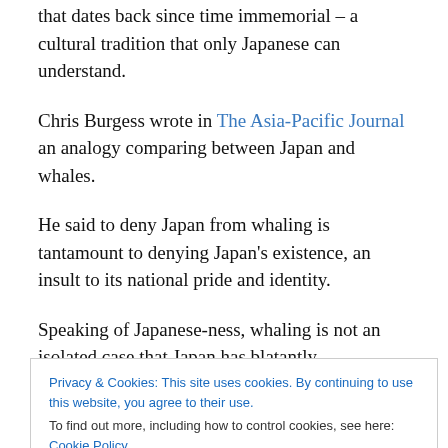that dates back since time immemorial – a cultural tradition that only Japanese can understand.
Chris Burgess wrote in The Asia-Pacific Journal an analogy comparing between Japan and whales.
He said to deny Japan from whaling is tantamount to denying Japan's existence, an insult to its national pride and identity.
Speaking of Japanese-ness, whaling is not an isolated case that Japan has blatantly misunderstood.
Privacy & Cookies: This site uses cookies. By continuing to use this website, you agree to their use. To find out more, including how to control cookies, see here: Cookie Policy
Close and accept